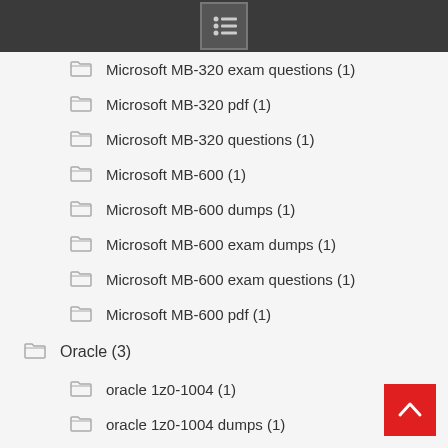Microsoft MB-320 exam questions (1)
Microsoft MB-320 pdf (1)
Microsoft MB-320 questions (1)
Microsoft MB-600 (1)
Microsoft MB-600 dumps (1)
Microsoft MB-600 exam dumps (1)
Microsoft MB-600 exam questions (1)
Microsoft MB-600 pdf (1)
Oracle (3)
oracle 1z0-1004 (1)
oracle 1z0-1004 dumps (1)
oracle 1z0-1004 exam dumps (1)
oracle 1z0-1046 (1)